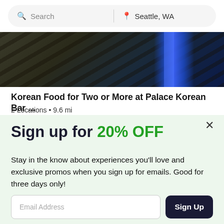Search | Seattle, WA
[Figure (photo): Close-up photo of Korean BBQ grill with blue flames, dark metallic surface]
Korean Food for Two or More at Palace Korean Bar ...
2 Locations • 9.6 mi
Sign up for 20% OFF
Stay in the know about experiences you'll love and exclusive promos when you sign up for emails. Good for three days only!
Email Address [input] Sign Up [button]
See Promotional Terms. New email subscribers only. Local category deals only. By subscribing, I agree to the Terms of Use and have read the Privacy Statement